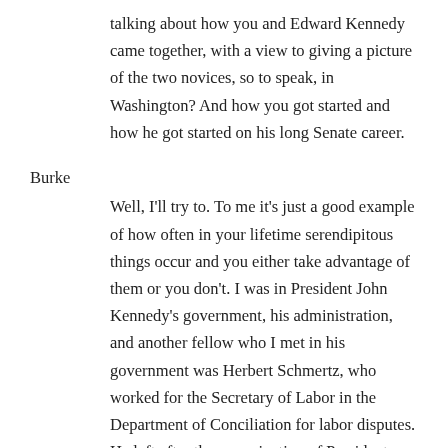talking about how you and Edward Kennedy came together, with a view to giving a picture of the two novices, so to speak, in Washington? And how you got started and how he got started on his long Senate career.
Burke
Well, I'll try to. To me it's just a good example of how often in your lifetime serendipitous things occur and you either take advantage of them or you don't. I was in President John Kennedy's government, his administration, and another fellow who I met in his government was Herbert Schmertz, who worked for the Secretary of Labor in the Department of Conciliation for labor disputes. He left after the assassination of President Kennedy and he opened a law firm with Milton Gwirtzman. Milton Gwirtzman had not been in John Kennedy's government, but he had been a classmate of Senator Ted Kennedy and